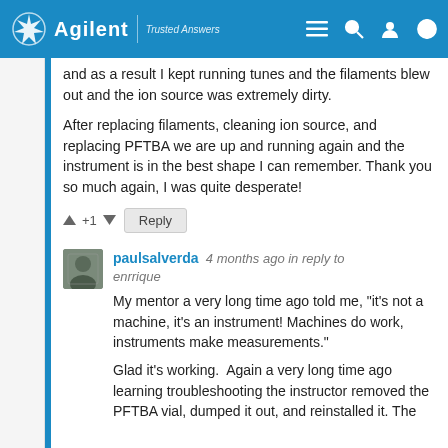Agilent | Trusted Answers
and as a result I kept running tunes and the filaments blew out and the ion source was extremely dirty.
After replacing filaments, cleaning ion source, and replacing PFTBA we are up and running again and the instrument is in the best shape I can remember. Thank you so much again, I was quite desperate!
+1
paulsalverda 4 months ago in reply to enrrique
My mentor a very long time ago told me, "it's not a machine, it's an instrument! Machines do work, instruments make measurements."
Glad it's working.  Again a very long time ago learning troubleshooting the instructor removed the PFTBA vial, dumped it out, and reinstalled it. The